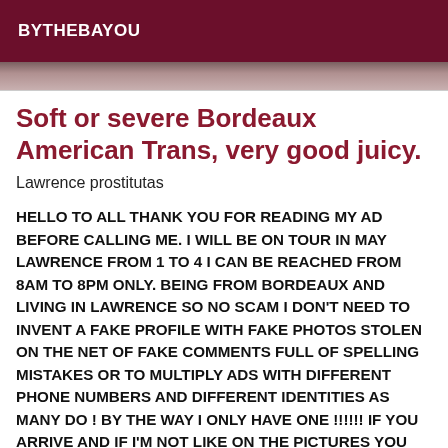BYTHEBAYOU
Soft or severe Bordeaux American Trans, very good juicy.
Lawrence prostitutas
HELLO TO ALL THANK YOU FOR READING MY AD BEFORE CALLING ME. I WILL BE ON TOUR IN MAY LAWRENCE FROM 1 TO 4 I CAN BE REACHED FROM 8AM TO 8PM ONLY. BEING FROM BORDEAUX AND LIVING IN LAWRENCE SO NO SCAM I DON'T NEED TO INVENT A FAKE PROFILE WITH FAKE PHOTOS STOLEN ON THE NET OF FAKE COMMENTS FULL OF SPELLING MISTAKES OR TO MULTIPLY ADS WITH DIFFERENT PHONE NUMBERS AND DIFFERENT IDENTITIES AS MANY DO ! BY THE WAY I ONLY HAVE ONE !!!!!! IF YOU ARRIVE AND IF I'M NOT LIKE ON THE PICTURES YOU CAN LEAVE WITHOUT BEING ATTACKED !!!!!! I WELCOME YOU IN